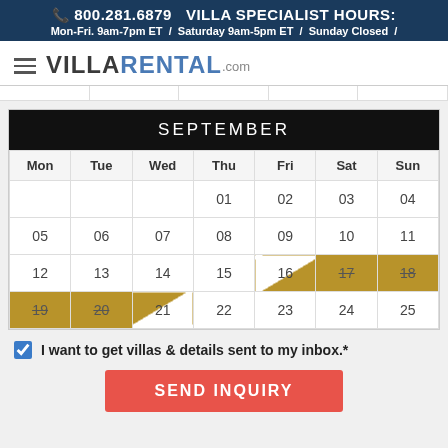📞 800.281.6879  VILLA SPECIALIST HOURS: Mon-Fri. 9am-7pm ET / Saturday 9am-5pm ET / Sunday Closed /
[Figure (logo): VillaRental.com logo with hamburger menu icon]
| Mon | Tue | Wed | Thu | Fri | Sat | Sun |
| --- | --- | --- | --- | --- | --- | --- |
|  |  |  | 01 | 02 | 03 | 04 |
| 05 | 06 | 07 | 08 | 09 | 10 | 11 |
| 12 | 13 | 14 | 15 | 16 | 17 | 18 |
| 19 | 20 | 21 | 22 | 23 | 24 | 25 |
I want to get villas & details sent to my inbox.*
SEND INQUIRY